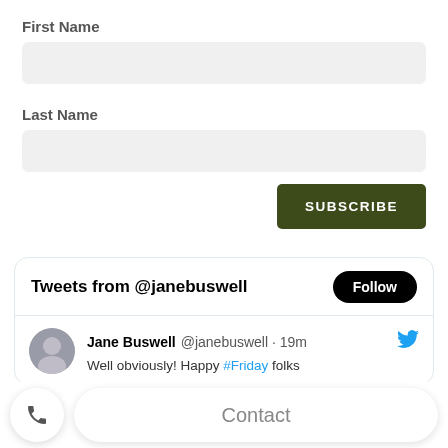First Name
[Figure (screenshot): First Name input field (empty, light grey rounded rectangle)]
Last Name
[Figure (screenshot): Last Name input field (empty, light grey rounded rectangle)]
[Figure (screenshot): SUBSCRIBE button, dark olive green background, white uppercase text]
[Figure (screenshot): Twitter widget card: header 'Tweets from @janebuswell' with Follow button, tweet from Jane Buswell @janebuswell 19m with avatar and tweet text 'Well obviously! Happy #Friday folks']
[Figure (screenshot): Bottom bar with phone icon button and Contact button]